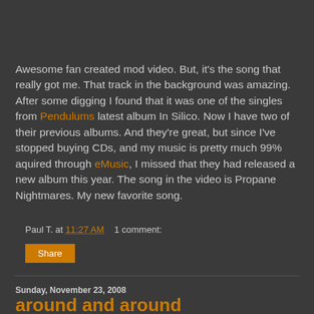Awesome fan created mod video. But, it's the song that really got me. That track in the background was amazing. After some digging I found that it was one of the singles from Pendulums latest album In Silico. Now I have two of their previous albums. And they're great, but since I've stopped buying CDs, and my music is pretty much 99% aquired through eMusic, I missed that they had released a new album this year. The song in the video is Propane Nightmares. My new favorite song.
Paul T. at 11:27 AM    1 comment:
Share
Sunday, November 23, 2008
around and around